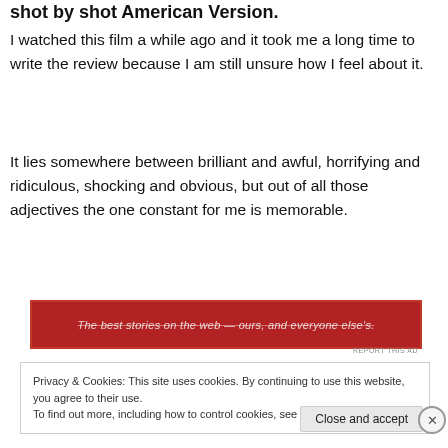shot by shot American Version.
I watched this film a while ago and it took me a long time to write the review because I am still unsure how I feel about it.
It lies somewhere between brilliant and awful, horrifying and ridiculous, shocking and obvious, but out of all those adjectives the one constant for me is memorable.
[Figure (other): Red advertisement banner with text: The best stories on the web — ours, and everyone else's.]
REPORT THIS AD
Privacy & Cookies: This site uses cookies. By continuing to use this website, you agree to their use.
To find out more, including how to control cookies, see here: Cookie Policy
Close and accept